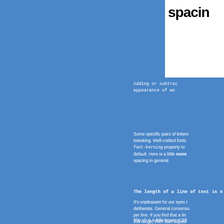spacing
Adding or subtracting spacing changes the appearance of words
Some specific pairs of letters often need tweaking. Well-crafted fonts include the font-kerning property to enable kerning by default. Here is a little more about letter spacing in general.
The length of a line of text is n
It’s unpleasant for our eyes to deliberate. General consensus per line. If you find that a line this range, then start adjusti
The ch is a little-known CSS in check. It’s a relative unit, o narrow characters like 1 and